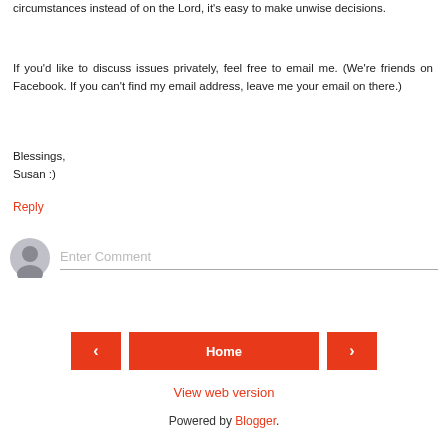circumstances instead of on the Lord, it's easy to make unwise decisions.
If you'd like to discuss issues privately, feel free to email me. (We're friends on Facebook. If you can't find my email address, leave me your email on there.)
Blessings,
Susan :)
Reply
Enter Comment
Home
View web version
Powered by Blogger.